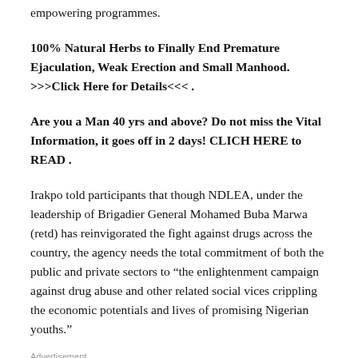empowering programmes.
100% Natural Herbs to Finally End Premature Ejaculation, Weak Erection and Small Manhood. >>>Click Here for Details<<< .
Are you a Man 40 yrs and above? Do not miss the Vital Information, it goes off in 2 days! CLICH HERE to READ .
Irakpo told participants that though NDLEA, under the leadership of Brigadier General Mohamed Buba Marwa (retd) has reinvigorated the fight against drugs across the country, the agency needs the total commitment of both the public and private sectors to “the enlightenment campaign against drug abuse and other related social vices crippling the economic potentials and lives of promising Nigerian youths.”
Advertisement